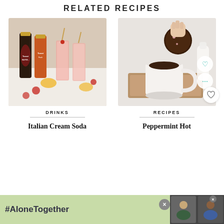RELATED RECIPES
[Figure (photo): Torani raspberry and peach syrup bottles next to pink drinks with fruit garnishes on a white surface]
[Figure (photo): Hand holding a chocolate cookie over a white mug of hot chocolate on a wooden board, with a milk bottle in background]
DRINKS
RECIPES
Italian Cream Soda
Peppermint Hot
[Figure (screenshot): Advertisement banner showing #AloneTogether text with people waving on a video call]